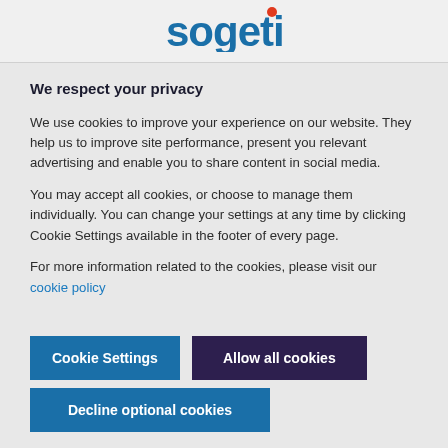[Figure (logo): Sogeti logo with blue text and red dot above the i]
We respect your privacy
We use cookies to improve your experience on our website. They help us to improve site performance, present you relevant advertising and enable you to share content in social media.
You may accept all cookies, or choose to manage them individually. You can change your settings at any time by clicking Cookie Settings available in the footer of every page.
For more information related to the cookies, please visit our cookie policy
Cookie Settings
Allow all cookies
Decline optional cookies